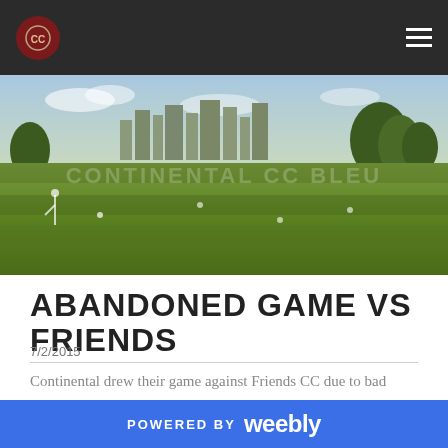Continental Cricket Club navigation
[Figure (photo): Cricket field with city skyline in background, players in white visible on the pitch, text watermark CONTINENTAL CC BLEU overlaid]
ABANDONED GAME VS FRIENDS
7/2/2015
Continental drew their game against Friends CC due to bad light. Continental lost the toss and was asked to bowl first. Right away, Devansh and Rezwan put Friends
POWERED BY weebly